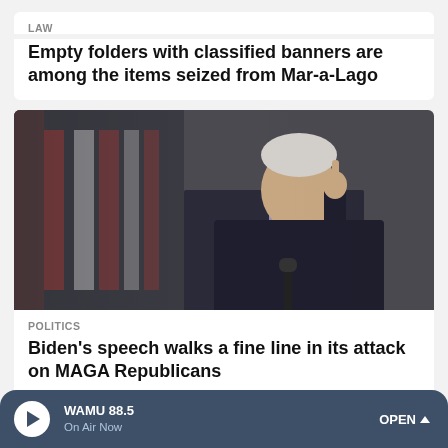LAW
Empty folders with classified banners are among the items seized from Mar-a-Lago
[Figure (photo): Photo of President Biden pointing finger upward at a podium with American flag in background, dark dramatic lighting]
POLITICS
Biden's speech walks a fine line in its attack on MAGA Republicans
WAMU 88.5 | On Air Now | OPEN